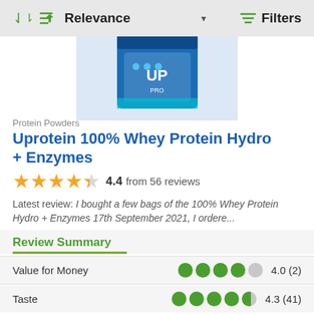[Figure (screenshot): Top navigation bar with sort by Relevance and Filters button]
[Figure (photo): Product image of Uprotein 100% Whey Protein Hydro + Enzymes blue packaging]
Protein Powders
Uprotein 100% Whey Protein Hydro + Enzymes
4.4 from 56 reviews
Latest review: I bought a few bags of the 100% Whey Protein Hydro + Enzymes 17th September 2021, I ordere...
Review Summary
Value for Money  4.0 (2)
Taste  4.3 (41)